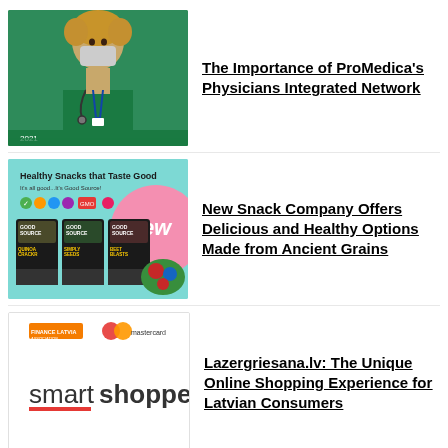[Figure (photo): Healthcare worker wearing green scrubs, mask, and stethoscope]
The Importance of ProMedica's Physicians Integrated Network
[Figure (photo): Good Source snack products with teal background and 'New' label, text: Healthy Snacks that Taste Good]
New Snack Company Offers Delicious and Healthy Options Made from Ancient Grains
[Figure (photo): Smart Shopper logo with Finance Latvia Association and Mastercard logos]
Lazergriesana.lv: The Unique Online Shopping Experience for Latvian Consumers